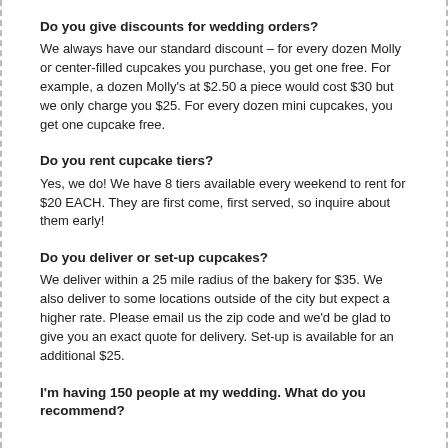Do you give discounts for wedding orders?
We always have our standard discount – for every dozen Molly or center-filled cupcakes you purchase, you get one free. For example, a dozen Molly's at $2.50 a piece would cost $30 but we only charge you $25. For every dozen mini cupcakes, you get one cupcake free.
Do you rent cupcake tiers?
Yes, we do! We have 8 tiers available every weekend to rent for $20 EACH. They are first come, first served, so inquire about them early!
Do you deliver or set-up cupcakes?
We deliver within a 25 mile radius of the bakery for $35. We also deliver to some locations outside of the city but expect a higher rate. Please email us the zip code and we'd be glad to give you an exact quote for delivery. Set-up is available for an additional $25.
I'm having 150 people at my wedding. What do you recommend?